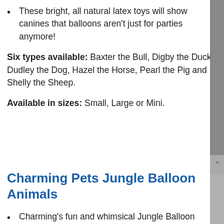These bright, all natural latex toys will show canines that balloons aren't just for parties anymore!
Six types available: Baxter the Bull, Digby the Duck, Dudley the Dog, Hazel the Horse, Pearl the Pig and Shelly the Sheep.
Available in sizes: Small, Large or Mini.
Charming Pets Jungle Balloon Animals
Charming's fun and whimsical Jungle Balloon Collection has just popped up!